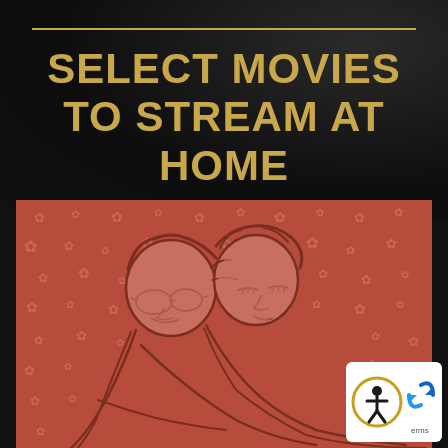SELECT MOVIES TO STREAM AT HOME
[Figure (illustration): Illustration of two people (an older person with glasses and a younger person) leaning together, drawn in a warm terracotta/red line-art style on a red background with small floral patterns.]
[Figure (logo): Accessibility icon (person in circle) and a blue recycling/circular arrows logo in white badge at bottom right corner.]